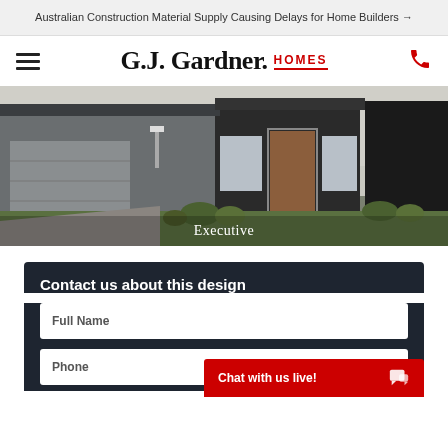Australian Construction Material Supply Causing Delays for Home Builders →
[Figure (logo): G.J. Gardner Homes logo with hamburger menu icon on left and phone icon on right]
[Figure (photo): Exterior render of a modern single-story home called Executive, showing a grey garage door, brick facade, timber front door, and landscaped front garden]
Executive
Contact us about this design
Full Name
Phone
Chat with us live!